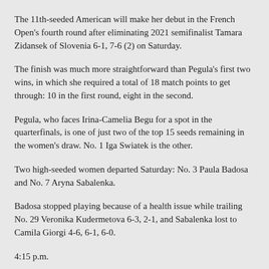The 11th-seeded American will make her debut in the French Open's fourth round after eliminating 2021 semifinalist Tamara Zidansek of Slovenia 6-1, 7-6 (2) on Saturday.
The finish was much more straightforward than Pegula's first two wins, in which she required a total of 18 match points to get through: 10 in the first round, eight in the second.
Pegula, who faces Irina-Camelia Begu for a spot in the quarterfinals, is one of just two of the top 15 seeds remaining in the women's draw. No. 1 Iga Swiatek is the other.
Two high-seeded women departed Saturday: No. 3 Paula Badosa and No. 7 Aryna Sabalenka.
Badosa stopped playing because of a health issue while trailing No. 29 Veronika Kudermetova 6-3, 2-1, and Sabalenka lost to Camila Giorgi 4-6, 6-1, 6-0.
4:15 p.m.
Zheng Qinwen has become the fourth Chinese woman to reach the fourth round at the French Open, doing so in her tournament debut.